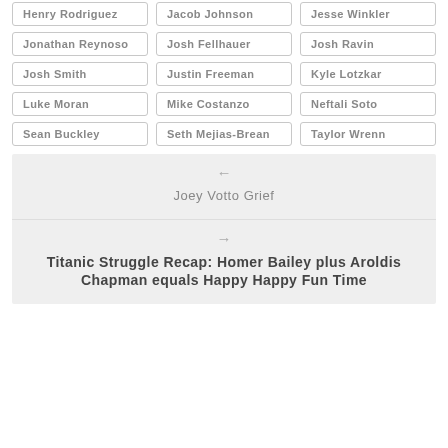Henry Rodriguez
Jacob Johnson
Jesse Winkler
Jonathan Reynoso
Josh Fellhauer
Josh Ravin
Josh Smith
Justin Freeman
Kyle Lotzkar
Luke Moran
Mike Costanzo
Neftali Soto
Sean Buckley
Seth Mejias-Brean
Taylor Wrenn
← Joey Votto Grief
→ Titanic Struggle Recap: Homer Bailey plus Aroldis Chapman equals Happy Happy Fun Time